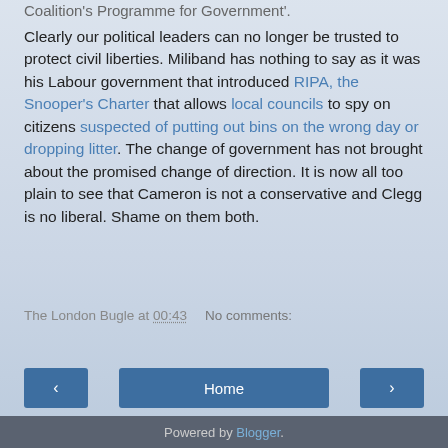Coalition's Programme for Government'.
Clearly our political leaders can no longer be trusted to protect civil liberties. Miliband has nothing to say as it was his Labour government that introduced RIPA, the Snooper's Charter that allows local councils to spy on citizens suspected of putting out bins on the wrong day or dropping litter. The change of government has not brought about the promised change of direction. It is now all too plain to see that Cameron is not a conservative and Clegg is no liberal. Shame on them both.
The London Bugle at 00:43   No comments:
Share
< Home >
View web version
Powered by Blogger.